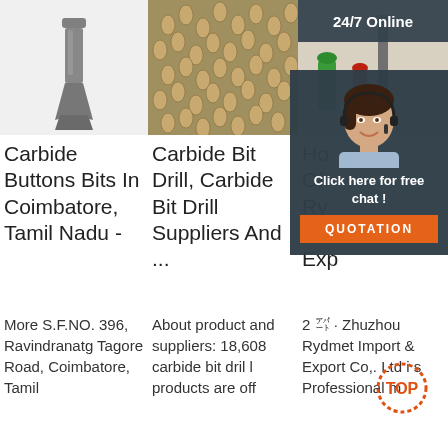[Figure (photo): Single gray carbide drill bit / bucket tooth on white background]
[Figure (photo): Many carbide bit drill products laid out on a surface, golden-brown metallic color]
[Figure (photo): Carbide tools with green and red plastic parts; overlay shows '24/7 Online' banner and chat popup with 'Click here for free chat!' and QUOTATION button]
Carbide Buttons Bits In Coimbatore, Tamil Nadu -
Carbide Bit Drill, Carbide Bit Drill Suppliers And ...
Ho Of Ry Im Exp
More S.F.NO. 396, Ravindranatg Tagore Road, Coimbatore, Tamil
About product and suppliers: 18,608 carbide bit dril l products are off
2 ╍ · Zhuzhou Rydmet Import & Export Co,. Ltd i s Professional m